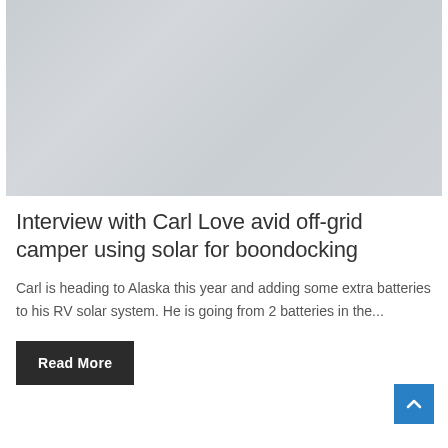[Figure (photo): Outdoor landscape photo, muted gray tones, appears to show a scenic environment, possibly sky and terrain.]
Interview with Carl Love avid off-grid camper using solar for boondocking
Carl is heading to Alaska this year and adding some extra batteries to his RV solar system. He is going from 2 batteries in the...
Read More